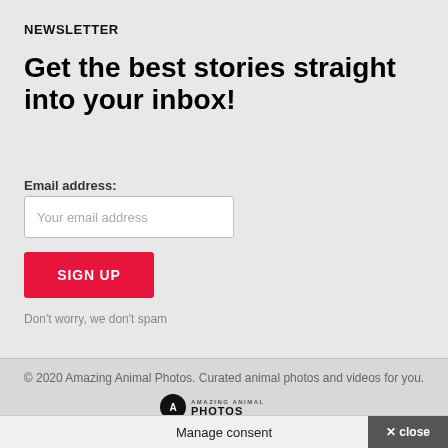NEWSLETTER
Get the best stories straight into your inbox!
Email address:
Your email address
SIGN UP
Don't worry, we don't spam
© 2020 Amazing Animal Photos. Curated animal photos and videos for you.
[Figure (logo): Amazing Animal Photos logo with circular icon and text]
Manage consent
× close